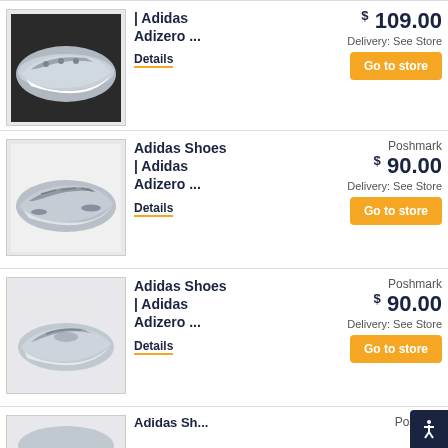[Figure (photo): Grey and white Adidas Adizero running shoe, top-side view on dark background]
| Adidas Adizero ...
$ 109.00
Delivery: See Store
Details
Go to store
[Figure (photo): Grey Adidas Adizero running shoes, pair on white background]
Adidas Shoes | Adidas Adizero ...
Poshmark
$ 90.00
Delivery: See Store
Details
Go to store
[Figure (photo): Grey Adidas Adizero running shoe, side view on white/grey background]
Adidas Shoes | Adidas Adizero ...
Poshmark
$ 90.00
Delivery: See Store
Details
Go to store
[Figure (photo): Partial view of another Adidas shoe listing (cropped at bottom)]
Adidas Sh...
Poshm...